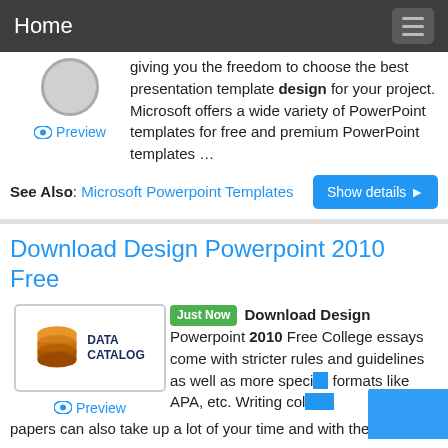Home
giving you the freedom to choose the best presentation template design for your project. Microsoft offers a wide variety of PowerPoint templates for free and premium PowerPoint templates …
Preview
See Also: Microsoft Powerpoint Templates
Download Design Powerpoint 2010 Free
[Figure (logo): Data Catalog logo with a stack of discs icon in orange and a dark blue label reading DATA CATALOG]
Preview
Just Now Download Design Powerpoint 2010 Free College essays come with stricter rules and guidelines as well as more specific formats like APA, etc. Writing college papers can also take up a lot of your time and with the